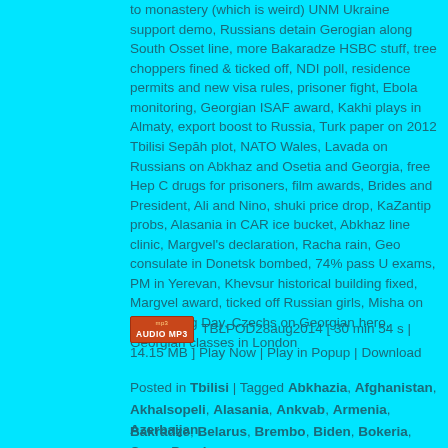to monastery (which is weird) UNM Ukraine support demo, Russians detain Gerogian along South Osset line, more Bakaradze HSBC stuff, tree choppers fined & ticked off, NDI poll, residence permits and new visa rules, prisoner fight, Ebola monitoring, Georgian ISAF award, Kakhi plays in Almaty, export boost to Russia, Turk paper on 2012 Tbilisi Sepāh plot, NATO Wales, Lavada on Russians on Abkhaz and Osetia and Georgia, free Hep C drugs for prisoners, film awards, Brides and President, Ali and Nino, shuki price drop, KaZantip probs, Alasania in CAR ice bucket, Abkhaz line clinic, Margvel's declaration, Racha rain, Geo consulate in Donetsk bombed, 74% pass U exams, PM in Yerevan, Khevsur historical building fixed, Margvel award, ticked off Russian girls, Misha on Groundhog Day, Czechs on Georgian hero, Georgian classes in London
TBLPOD28aug2014 [ 30 min 54 s | 14.15 MB ] Play Now | Play in Popup | Download
Posted in Tbilisi | Tagged Abkhazia, Afghanistan, Akhalsopeli, Alasania, Ankvab, Armenia, Azerbaijan, Bakradze, Belarus, Brembo, Biden, Bokeria, Camp Peach...